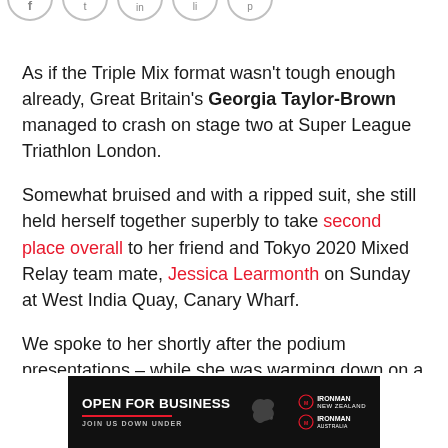[Figure (illustration): Social media icons (partial, cropped at top of page)]
As if the Triple Mix format wasn't tough enough already, Great Britain's Georgia Taylor-Brown managed to crash on stage two at Super League Triathlon London.
Somewhat bruised and with a ripped suit, she still held herself together superbly to take second place overall to her friend and Tokyo 2020 Mixed Relay team mate, Jessica Learmonth on Sunday at West India Quay, Canary Wharf.
We spoke to her shortly after the podium presentations – while she was warming down on a turbo trainer, starting with that crash.
[Figure (illustration): Advertisement banner: OPEN FOR BUSINESS / JOIN US DOWN UNDER — with IRONMAN New Zealand and IRONMAN Australia logos on black background]